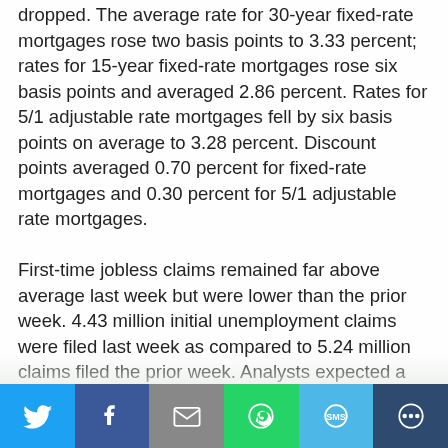dropped. The average rate for 30-year fixed-rate mortgages rose two basis points to 3.33 percent; rates for 15-year fixed-rate mortgages rose six basis points and averaged 2.86 percent. Rates for 5/1 adjustable rate mortgages fell by six basis points on average to 3.28 percent. Discount points averaged 0.70 percent for fixed-rate mortgages and 0.30 percent for 5/1 adjustable rate mortgages. First-time jobless claims remained far above average last week but were lower than the prior week. 4.43 million initial unemployment claims were filed last week as compared to 5.24 million claims filed the prior week. Analysts expected a reading of four million new claims filed last week. April's Consumer Sentiment Index reading fell to an index reading of 71.8 from the March reading of 89.1
[Figure (other): Social media share bar with Twitter, Facebook, Email, WhatsApp, SMS, and Other sharing buttons]